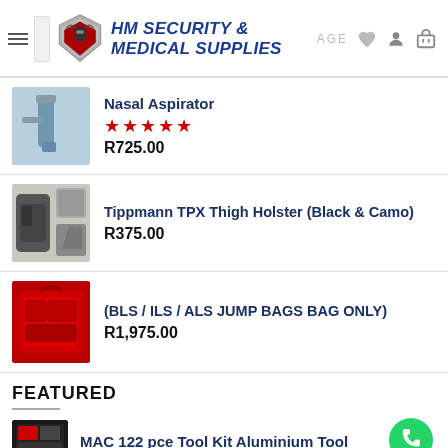HM SECURITY & MEDICAL SUPPLIES
[Figure (screenshot): Product listing page for HM Security & Medical Supplies e-commerce site showing three products and a featured section header]
Nasal Aspirator
★★★★★
R725.00
Tippmann TPX Thigh Holster (Black & Camo)
R375.00
(BLS / ILS / ALS JUMP BAGS BAG ONLY)
R1,975.00
FEATURED
MAC 122 pce Tool Kit Aluminium Tool